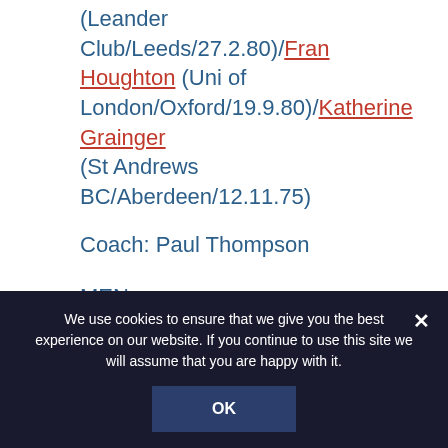(Leander Club/Leeds/27.2.80)/Fran Houghton (Uni of London/Oxford/19.9.80)/Katherine Grainger (St Andrews BC/Aberdeen/12.11.75)
Coach: Paul Thompson
MEN
Pair
Colin Smith (Leander/Henley on Thames/23.9.83)/Matt Langridge
We use cookies to ensure that we give you the best experience on our website. If you continue to use this site we will assume that you are happy with it.